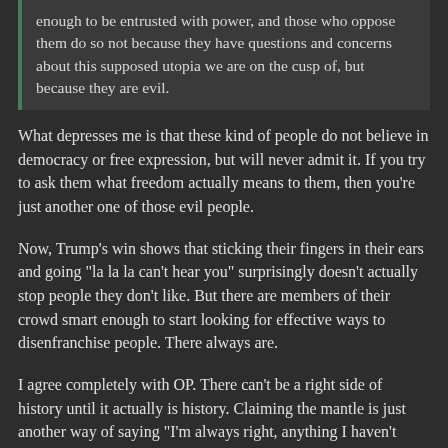enough to be entrusted with power, and those who oppose them do so not because they have questions and concerns about this supposed utopia we are on the cusp of, but because they are evil.
What depresses me is that these kind of people do not believe in democracy or free expression, but will never admit it. If you try to ask them what freedom actually means to them, then you're just another one of those evil people.
Now, Trump's win shows that sticking their fingers in their ears and going "la la la can't hear you" surprisingly doesn't actually stop people they don't like. But there are members of their crowd smart enough to start looking for effective ways to disenfranchise people. There always are.
I agree completely with OP. There can't be a right side of history until it actually is history. Claiming the mantle is just another way of saying "I'm always right, anything I haven't considered isn't worth considering"